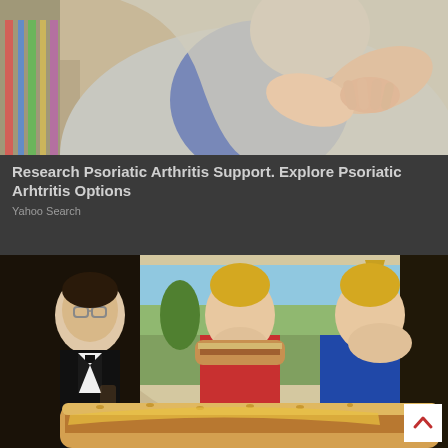[Figure (photo): Woman in gray cardigan and blue top holding/gripping her elbow/wrist area, suggesting joint pain, psoriatic arthritis symptom illustration]
Research Psoriatic Arthritis Support. Explore Psoriatic Arhtritis Options
Yahoo Search
[Figure (photo): Two blonde women in formal evening wear eating oversized sandwiches/submarine sandwiches, with a man in tuxedo in background, restaurant/banquet setting with painted landscape mural]
[Figure (other): Scroll-to-top button with upward chevron arrow, white background]